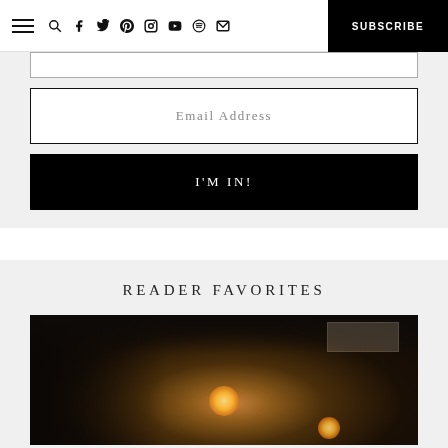Navigation bar with hamburger menu, social icons (search, facebook, twitter, pinterest, instagram, youtube, spotify, email), and SUBSCRIBE button
Email Address
I'M IN!
READER FAVORITES
[Figure (photo): Dark atmospheric photo of candles glowing on a table in a dim room, with warm candlelight illuminating the scene and a bright window visible in the upper right background]